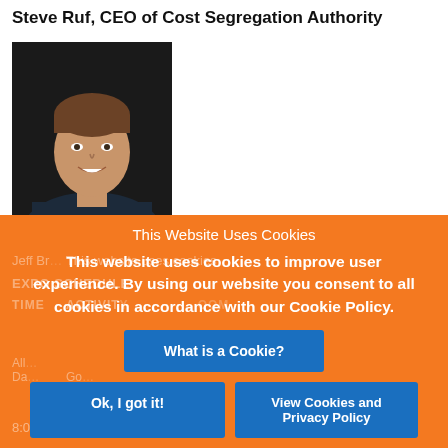Steve Ruf, CEO of Cost Segregation Authority
[Figure (photo): Headshot photo of Steve Ruf, a middle-aged man in a dark suit, smiling, against a dark background.]
This Website Uses Cookies
This website uses cookies to improve user experience. By using our website you consent to all cookies in accordance with our Cookie Policy.
What is a Cookie?
Ok, I got it!
View Cookies and Privacy Policy
Jeff Br... This website uses cookies...
EXPO SCHEDULE:
TIME   ACTIVITY   OOM
All... Stereo... Mentor
Da... Go...
8:00 –